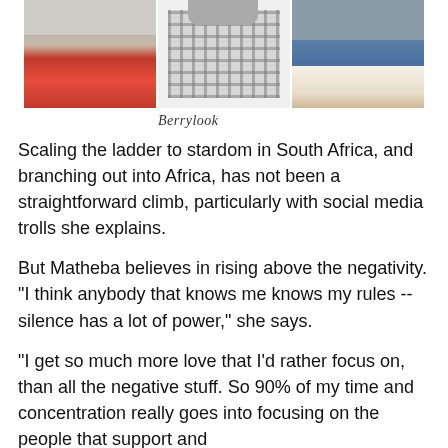[Figure (photo): Three fashion product photos side by side: red peep-toe heels with bow, a plaid/checked long coat worn by a person, and cream woven flat sandals with ankle strap on denim jeans.]
Berrylook
Scaling the ladder to stardom in South Africa, and branching out into Africa, has not been a straightforward climb, particularly with social media trolls she explains.
But Matheba believes in rising above the negativity. "I think anybody that knows me knows my rules -- silence has a lot of power," she says.
"I get so much more love that I’d rather focus on, than all the negative stuff. So 90% of my time and concentration really goes into focusing on the people that support and